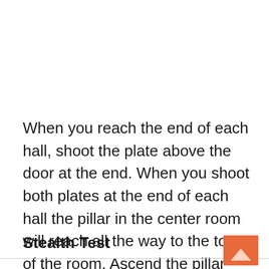When you reach the end of each hall, shoot the plate above the door at the end. When you shoot both plates at the end of each hall the pillar in the center room will reach all the way to the top of the room. Ascend the pillar and claim your prize!
Stealth Test